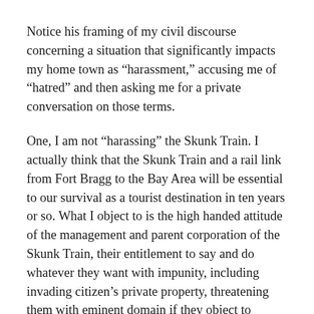Notice his framing of my civil discourse concerning a situation that significantly impacts my home town as “harassment,” accusing me of “hatred” and then asking me for a private conversation on those terms.
One, I am not “harassing” the Skunk Train. I actually think that the Skunk Train and a rail link from Fort Bragg to the Bay Area will be essential to our survival as a tourist destination in ten years or so. What I object to is the high handed attitude of the management and parent corporation of the Skunk Train, their entitlement to say and do whatever they want with impunity, including invading citizen’s private property, threatening them with eminent domain if they object to having their trees cut down and dozers cutting trails on their land. Good neighbors and civic comity start with respecting people’s property and people’s boundaries. If Mendocino Railway, the management